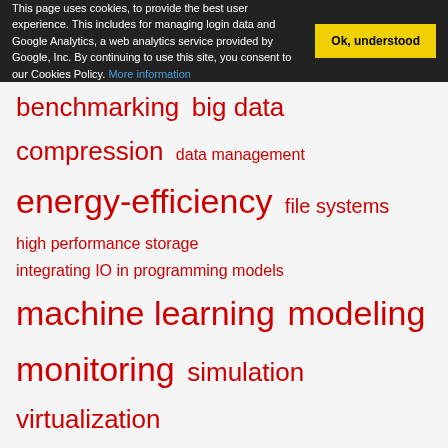This page uses cookies, to provide the best user experience. This includes for managing login data and Google Analytics, a web analytics service provided by Google, Inc. By continuing to use this site, you consent to our Cookies Policy. More information
benchmarking   big data   compression   data management   energy-efficiency   file systems   high performance storage   integrating IO in programming models   machine learning   modeling   monitoring   simulation   virtualization
Layers tag cloud
ADIOS   Burst Buffer   Burst Buffers   FUSE   GPFS   HDD.   HDF5   HDFS   Lustre   MPI-IO   MPIIO   NVRAM   NetCDF4   NoSQL DB   PVFS2   SSD   block device   cloud   file systems   middleware
Nationality tag cloud
CH   DE   ES   FR   GR   SA   UK   US   USA